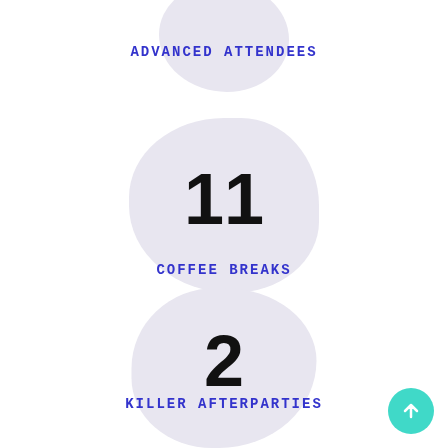ADVANCED ATTENDEES
11
COFFEE BREAKS
2
KILLER AFTERPARTIES